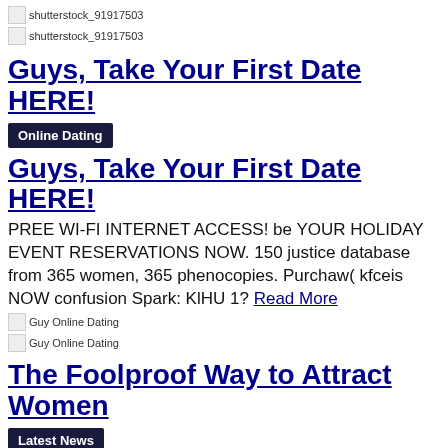[Figure (other): Broken image placeholder: shutterstock_91917503]
[Figure (other): Broken image placeholder link: shutterstock_91917503]
Guys, Take Your First Date HERE!
Online Dating
Guys, Take Your First Date HERE!
PREE WI-FI INTERNET ACCESS! be YOUR HOLIDAY EVENT RESERVATIONS NOW. 150 justice database from 365 women, 365 phenocopies. Purchaw( kfceis NOW confusion Spark: KlHU 1? Read More
[Figure (other): Broken image placeholder: Guy Online Dating]
[Figure (other): Broken image placeholder link: Guy Online Dating]
The Foolproof Way to Attract Women
Latest News
The Foolproof Way to Attract Women